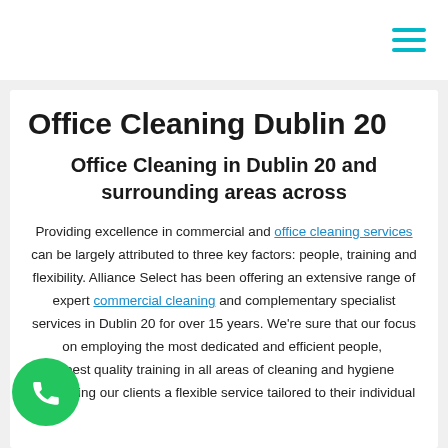☰ (hamburger menu icon)
Office Cleaning Dublin 20
Office Cleaning in Dublin 20 and surrounding areas across
Providing excellence in commercial and office cleaning services can be largely attributed to three key factors: people, training and flexibility. Alliance Select has been offering an extensive range of expert commercial cleaning and complementary specialist services in Dublin 20 for over 15 years. We're sure that our focus on employing the most dedicated and efficient people, [providing] best quality training in all areas of cleaning and hygiene and offering our clients a flexible service tailored to their individual...